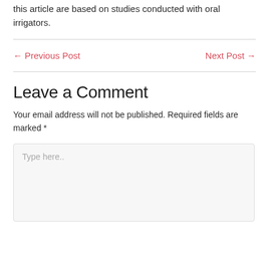this article are based on studies conducted with oral irrigators.
← Previous Post    Next Post →
Leave a Comment
Your email address will not be published. Required fields are marked *
Type here..